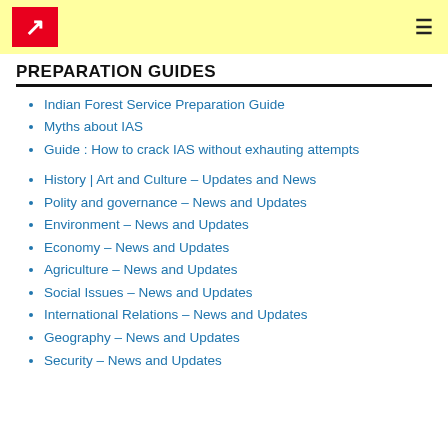PREPARATION GUIDES - site header with logo and hamburger menu
PREPARATION GUIDES
Indian Forest Service Preparation Guide
Myths about IAS
Guide : How to crack IAS without exhauting attempts
History | Art and Culture – Updates and News
Polity and governance – News and Updates
Environment – News and Updates
Economy – News and Updates
Agriculture – News and Updates
Social Issues – News and Updates
International Relations – News and Updates
Geography – News and Updates
Security – News and Updates